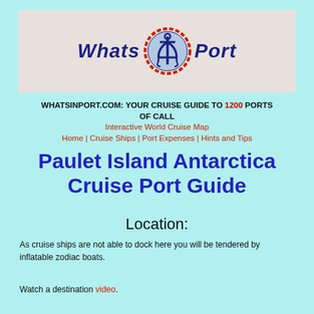[Figure (logo): WhatsInPort logo with anchor icon in a rope circle, text reads WHATS IN PORT on a beige/tan banner background]
WHATSINPORT.COM: YOUR CRUISE GUIDE TO 1200 PORTS OF CALL
Interactive World Cruise Map
Home | Cruise Ships | Port Expenses | Hints and Tips
Paulet Island Antarctica Cruise Port Guide
Location:
As cruise ships are not able to dock here you will be tendered by inflatable zodiac boats.
Watch a destination video.